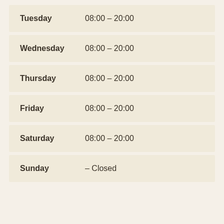| Day | Hours |
| --- | --- |
| Tuesday | 08:00 – 20:00 |
| Wednesday | 08:00 – 20:00 |
| Thursday | 08:00 – 20:00 |
| Friday | 08:00 – 20:00 |
| Saturday | 08:00 – 20:00 |
| Sunday | – Closed |